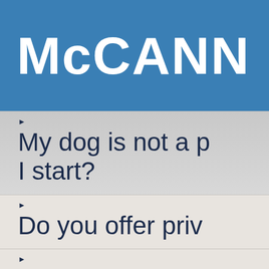McCANN DO
My dog is not a p... I start?
Do you offer priv
How often do